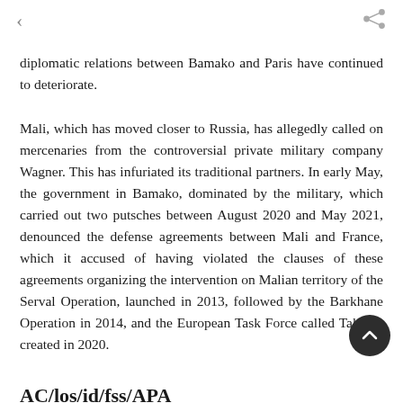< [back] [share]
diplomatic relations between Bamako and Paris have continued to deteriorate.
Mali, which has moved closer to Russia, has allegedly called on mercenaries from the controversial private military company Wagner. This has infuriated its traditional partners. In early May, the government in Bamako, dominated by the military, which carried out two putsches between August 2020 and May 2021, denounced the defense agreements between Mali and France, which it accused of having violated the clauses of these agreements organizing the intervention on Malian territory of the Serval Operation, launched in 2013, followed by the Barkhane Operation in 2014, and the European Task Force called Takuba, created in 2020.
AC/los/id/fss/APA